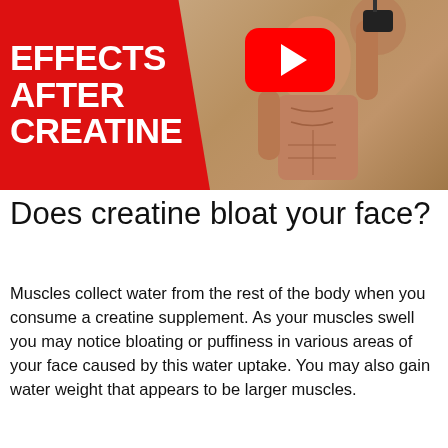[Figure (screenshot): YouTube video thumbnail showing a shirtless muscular man taking a mirror selfie, with a red banner on the left reading 'EFFECTS AFTER CREATINE' and a YouTube play button icon in the upper center.]
Does creatine bloat your face?
Muscles collect water from the rest of the body when you consume a creatine supplement. As your muscles swell you may notice bloating or puffiness in various areas of your face caused by this water uptake. You may also gain water weight that appears to be larger muscles.